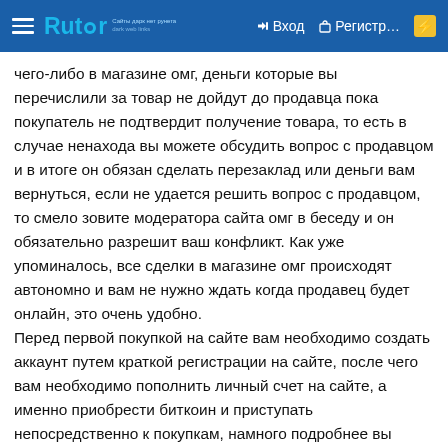≡ Rutor | Вход | Регистр... | ⚡
чего-либо в магазине омг, деньги которые вы перечислили за товар не дойдут до продавца пока покупатель не подтвердит получение товара, то есть в случае ненахода вы можете обсудить вопрос с продавцом и в итоге он обязан сделать перезаклад или деньги вам вернуться, если не удается решить вопрос с продавцом, то смело зовите модератора сайта омг в беседу и он обязательно разрешит ваш конфликт. Как уже упоминалось, все сделки в магазине омг происходят автономно и вам не нужно ждать когда продавец будет онлайн, это очень удобно.
Перед первой покупкой на сайте вам необходимо создать аккаунт путем краткой регистрации на сайте, после чего вам необходимо пополнить личный счет на сайте, а именно приобрести биткоин и приступать непосредственно к покупкам, намного подробнее вы сможете узнать об этом в данном мануале ссылка на мануал.На сайте омг полным-полно различных мануалов по сайту омг полный список вы можете увидеть здесь: ссылка на статьи, также новости на сайте постоянно обновляются, вы можете наблюдать это